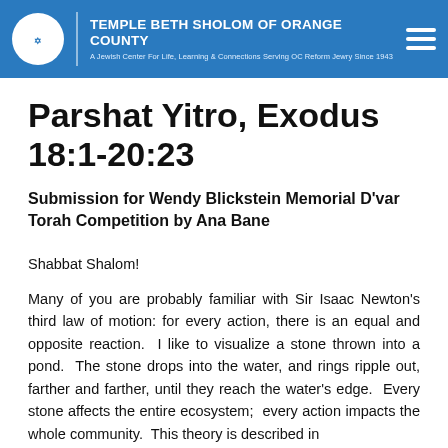TEMPLE BETH SHOLOM OF ORANGE COUNTY — A Jewish Center For Life, Learning & Connections Serving OC Reform Jewry Since 1943
Parshat Yitro, Exodus 18:1-20:23
Submission for Wendy Blickstein Memorial D'var Torah Competition by Ana Bane
Shabbat Shalom!
Many of you are probably familiar with Sir Isaac Newton's third law of motion: for every action, there is an equal and opposite reaction.  I like to visualize a stone thrown into a pond.  The stone drops into the water, and rings ripple out, farther and farther, until they reach the water's edge.  Every stone affects the entire ecosystem;  every action impacts the whole community.  This theory is described in